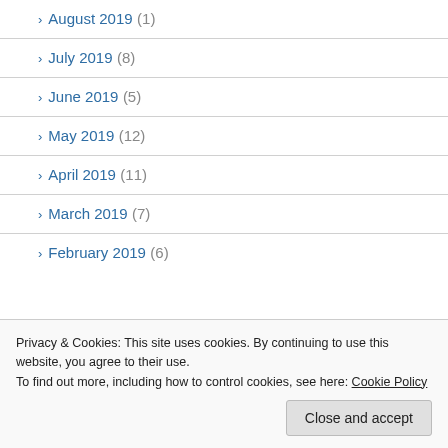> August 2019 (1)
> July 2019 (8)
> June 2019 (5)
> May 2019 (12)
> April 2019 (11)
> March 2019 (7)
> February 2019 (6)
Privacy & Cookies: This site uses cookies. By continuing to use this website, you agree to their use.
To find out more, including how to control cookies, see here: Cookie Policy